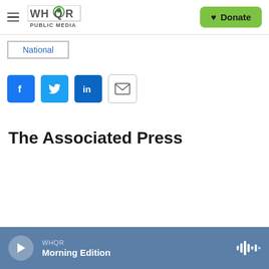WHQR PUBLIC MEDIA — Donate
National
[Figure (infographic): Social sharing buttons: Facebook, Twitter, LinkedIn, Email]
The Associated Press
WHQR Morning Edition — audio player bar